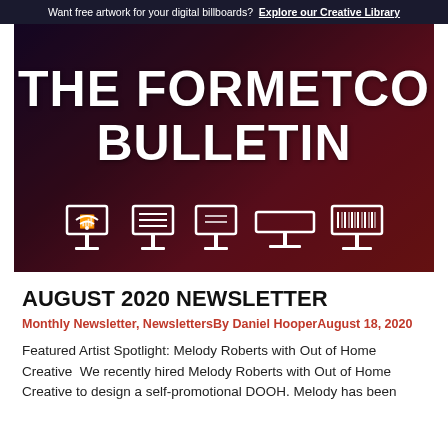Want free artwork for your digital billboards?  Explore our Creative Library
[Figure (illustration): Dark red and purple gradient hero image with bold white text reading 'THE FORMETCO BULLETIN' and white icons of digital billboards at the bottom]
AUGUST 2020 NEWSLETTER
Monthly Newsletter, NewslettersBy Daniel HooperAugust 18, 2020
Featured Artist Spotlight: Melody Roberts with Out of Home Creative  We recently hired Melody Roberts with Out of Home Creative to design a self-promotional DOOH. Melody has been